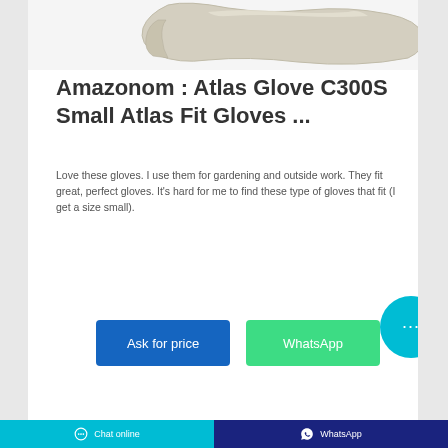[Figure (photo): A hand/arm wearing a white latex or fabric glove, photographed on a white background, showing just the lower forearm and gloved hand extending to the right.]
Amazonom : Atlas Glove C300S Small Atlas Fit Gloves ...
Love these gloves. I use them for gardening and outside work. They fit great, perfect gloves. It's hard for me to find these type of gloves that fit (I get a size small).
Ask for price
WhatsApp
Chat online   WhatsApp